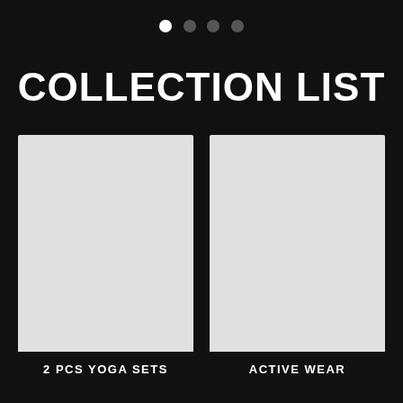[Figure (other): Pagination dots: one white active dot followed by three dark inactive dots]
COLLECTION LIST
[Figure (other): Gray placeholder image card with label '2 PCS YOGA SETS' at bottom]
[Figure (other): Gray placeholder image card with label 'ACTIVE WEAR' at bottom]